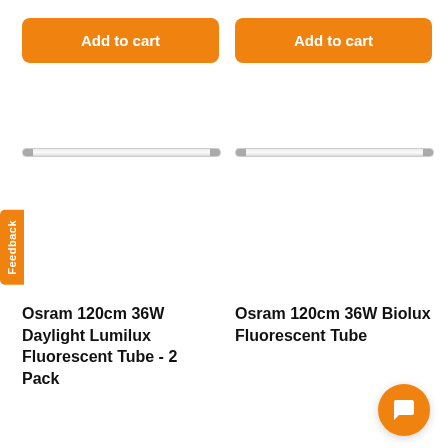[Figure (screenshot): E-commerce product listing page showing two fluorescent tube products side by side, each with an orange 'Add to cart' button, a product image of a thin fluorescent tube, and product title text. A feedback tab on the left and a chat bubble in the bottom right are also visible.]
Add to cart
Add to cart
Osram 120cm 36W Daylight Lumilux Fluorescent Tube - 2 Pack
Osram 120cm 36W Biolux Fluorescent Tube